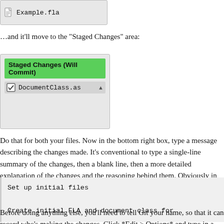[Figure (screenshot): Screenshot of a file browser panel showing 'Example.fla' file entry with a file icon]
…and it'll move to the “Staged Changes” area:
[Figure (screenshot): Screenshot of Git GUI panel showing 'Staged Changes (Will Commit)' header in green with 'DocumentClass.as' file listed with a checkbox]
Do that for both your files. Now in the bottom right box, type a message describing the changes made. It's conventional to type a single-line summary of the changes, then a blank line, then a more detailed explanation of the changes and the reasoning behind them. Obviously in this case, there's not a lot you can say. Something lik
[Figure (screenshot): Code block showing: Set up initial files

Create initial FLA and document class for]
Before doing anything else, you'll need to tell Git your name, so that it can record who's making the changes. Click *Edit > Options* and type in a user nam house on the right-hand page. Click Save, then open the options